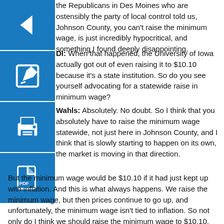the Republicans in Des Moines who are ostensibly the party of local control told us, Johnson County, you can't raise the minimum wage, is just incredibly hypocritical, and something I found deeply disappointing.
DI: When that happened, the University of Iowa actually got out of even raising it to $10.10 because it's a state institution. So do you see yourself advocating for a statewide raise in minimum wage?
Wahls: Absolutely. No doubt. So I think that you absolutely have to raise the minimum wage statewide, not just here in Johnson County, and I think that is slowly starting to happen on its own, the market is moving in that direction.
But the minimum wage would be $10.10 if it had just kept up with inflation. And this is what always happens. We raise the minimum wage, but then prices continue to go up, and unfortunately, the minimum wage isn't tied to inflation. So not only do I think we should raise the minimum wage to $10.10, but we should index it to inflation so that it continues to rise as inflation, and we don't get stuck in this pattern that we're currently in. I don't think that makes any sense. I mean if you look at all of the problems facing our state I would stay low wages and poverty are among those key problems, so I think it has to be the responsibility of the state to raise wages. We have an unemployment rate under 3 percent at this point, but we